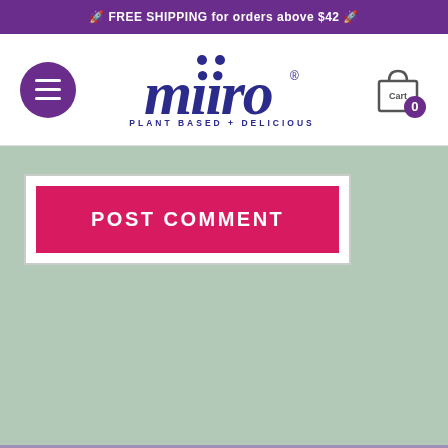🚀 FREE SHIPPING for orders above $42 🚀
[Figure (logo): Miiro brand logo with hamburger menu button on left, shopping cart icon on right. Logo shows 'miiro' in dark blue italic serif font with tagline 'PLANT BASED + DELICIOUS']
POST COMMENT